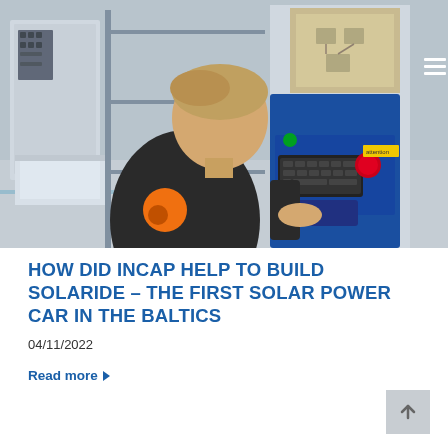[Figure (photo): A man wearing a dark jacket with an orange logo on the back sits at a blue industrial machine/control station with a keyboard, monitor displaying a schematic, and an emergency stop button, inside a factory/industrial facility.]
HOW DID INCAP HELP TO BUILD SOLARIDE – THE FIRST SOLAR POWER CAR IN THE BALTICS
04/11/2022
Read more